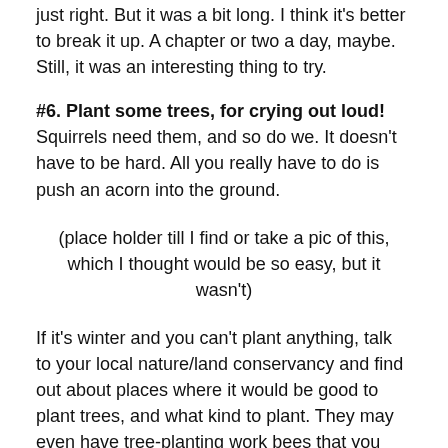just right. But it was a bit long. I think it's better to break it up. A chapter or two a day, maybe. Still, it was an interesting thing to try.
#6. Plant some trees, for crying out loud! Squirrels need them, and so do we. It doesn't have to be hard. All you really have to do is push an acorn into the ground.
(place holder till I find or take a pic of this, which I thought would be so easy, but it wasn't)
If it's winter and you can't plant anything, talk to your local nature/land conservancy and find out about places where it would be good to plant trees, and what kind to plant. They may even have tree-planting work bees that you can participate in.
#7. This is your turn. What is your idea? If you email me